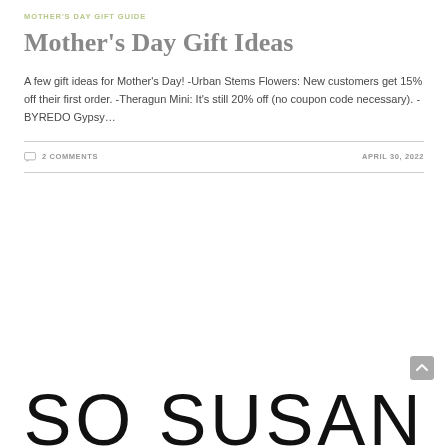MOTHER'S DAY GIFT GUIDE
Mother's Day Gift Ideas
A few gift ideas for Mother's Day! -Urban Stems Flowers: New customers get 15% off their first order. -Theragun Mini: It's still 20% off (no coupon code necessary). -BYREDO Gypsy…
2 COMMENTS    APRIL 30, 2022
[Figure (logo): Bottom of page logo text reading 'SO SUSAN' in large thin font]